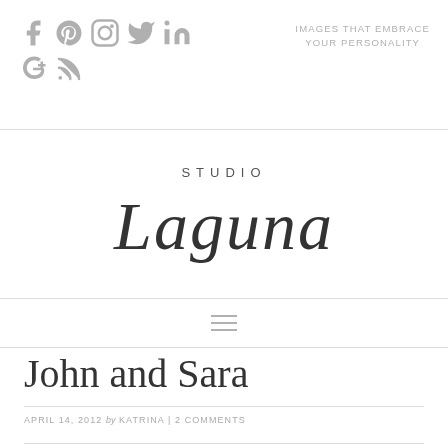Social icons: Facebook, Pinterest, Instagram, Twitter, LinkedIn, Google+, RSS | IMAGES THAT EMBRACE YOUR PERSONALITY
[Figure (logo): Studio Laguna logo with script lettering 'Laguna' and sans-serif 'STUDIO' above]
[Figure (other): Hamburger navigation menu icon (three horizontal lines)]
John and Sara
APRIL 14, 2012 by KATRINA | 2 COMMENTS